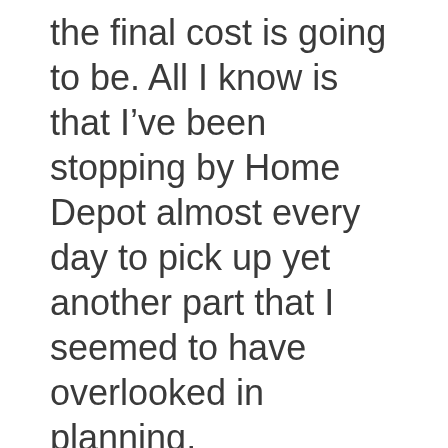the final cost is going to be. All I know is that I've been stopping by Home Depot almost every day to pick up yet another part that I seemed to have overlooked in planning.

So, as the only person who is working this project, I need to wear many hats. Designer, draftsman, planner, scheduler, estimator, finance manager, procurement specialist (does that) thing have a